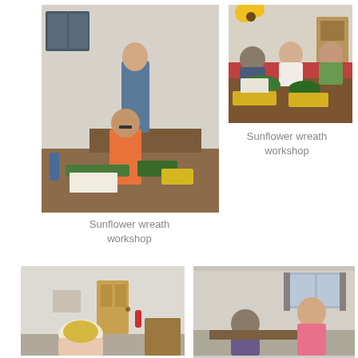[Figure (photo): People sitting at tables in a community hall working on sunflower wreaths, with a man standing in the background]
[Figure (photo): Three women sitting at a table working on sunflower wreaths with supplies on the table]
Sunflower wreath workshop
Sunflower wreath workshop
[Figure (photo): Woman with blond hair seen from behind in a community room with a wooden door]
[Figure (photo): Two women in a community room, one seated and one standing in a pink shirt]